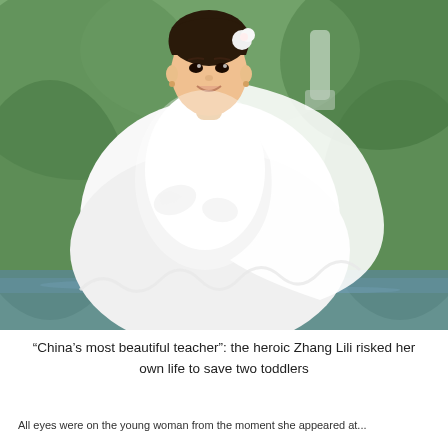[Figure (photo): A young Asian woman in a white wedding dress and veil, smiling and posing outdoors near a body of water with green trees in the background. She is wearing white lace gloves and a white flower in her short dark hair.]
“China’s most beautiful teacher”: the heroic Zhang Lili risked her own life to save two toddlers
All eyes were on the young woman from the moment she appeared at...